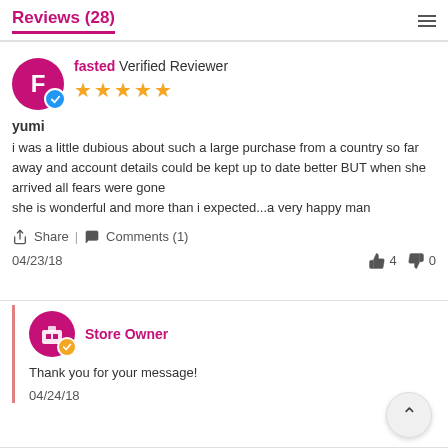Reviews (28)
fasted Verified Reviewer ★★★★★
yumi
i was a little dubious about such a large purchase from a country so far away and account details could be kept up to date better BUT when she arrived all fears were gone
se is wonderful and more than i expected...a very happy man
Share | Comments (1)
04/23/18   👍 4   👎 0
Store Owner
Thank you for your message!
04/24/18